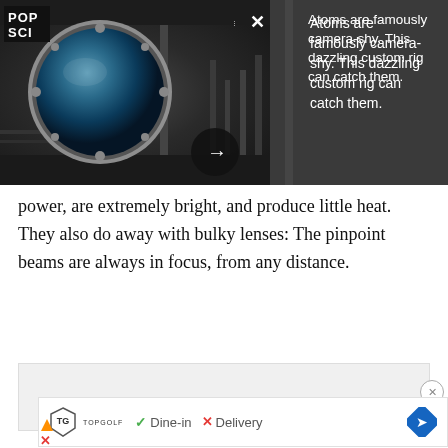[Figure (photo): Scientific laboratory equipment featuring a large circular porthole/viewport on a metal apparatus, surrounded by machinery and components. Popular Science logo visible in top left corner. Dark panel overlay on right with navigation controls.]
Atoms are famously camera-shy. This dazzling custom rig can catch them.
power, are extremely bright, and produce little heat. They also do away with bulky lenses: The pinpoint beams are always in focus, from any distance.
[Figure (other): Advertisement placeholder grey box]
[Figure (other): Topgolf advertisement showing logo with Dine-in checkmark and Delivery X mark, navigation arrow icon]